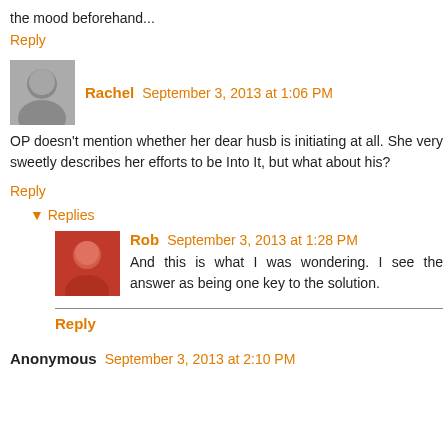the mood beforehand...
Reply
Rachel September 3, 2013 at 1:06 PM
OP doesn't mention whether her dear husb is initiating at all. She very sweetly describes her efforts to be Into It, but what about his?
Reply
▾ Replies
Rob September 3, 2013 at 1:28 PM
And this is what I was wondering. I see the answer as being one key to the solution.
Reply
Anonymous September 3, 2013 at 2:10 PM